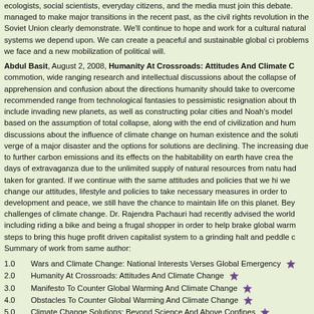ecologists, social scientists, everyday citizens, and the media must join this debate. managed to make major transitions in the recent past, as the civil rights revolution in the Soviet Union clearly demonstrate. We'll continue to hope and work for a cultural natural systems we depend upon. We can create a peaceful and sustainable global ci problems we face and a new mobilization of political will.
Abdul Basit, August 2, 2008, Humanity At Crossroads: Attitudes And Climate C commotion, wide ranging research and intellectual discussions about the collapse of apprehension and confusion about the directions humanity should take to overcome recommended range from technological fantasies to pessimistic resignation about th include invading new planets, as well as constructing polar cities and Noah's model based on the assumption of total collapse, along with the end of civilization and hum discussions about the influence of climate change on human existence and the soluti verge of a major disaster and the options for solutions are declining. The increasing due to further carbon emissions and its effects on the habitability on earth have crea the days of extravaganza due to the unlimited supply of natural resources from natu had taken for granted. If we continue with the same attitudes and policies that we hi we change our attitudes, lifestyle and policies to take necessary measures in order to development and peace, we still have the chance to maintain life on this planet. Bey challenges of climate change. Dr. Rajendra Pachauri had recently advised the world including riding a bike and being a frugal shopper in order to help brake global warm steps to bring this huge profit driven capitalist system to a grinding halt and peddle c Summary of work from same author:
1.0    Wars and Climate Change: National Interests Verses Global Emergency
2.0    Humanity At Crossroads: Attitudes And Climate Change
3.0    Manifesto To Counter Global Warming And Climate Change
4.0    Obstacles To Counter Global Warming And Climate Change
5.0    Climate Change Solutions: Beyond Science And Above Confines